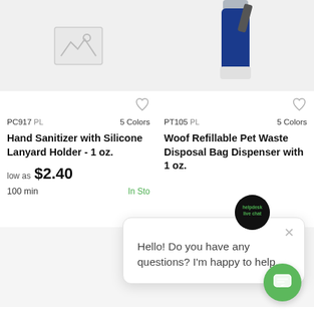[Figure (photo): Product listing grid showing two product cards at top and two partial product cards at bottom. Left top card: Hand Sanitizer with Silicone Lanyard Holder with placeholder image. Right top card: Woof Refillable Pet Waste Disposal Bag Dispenser with blue bottle product image. Chat popup overlay visible on right side.]
PC917 PL   5 Colors
Hand Sanitizer with Silicone Lanyard Holder - 1 oz.
low as $2.40
100 min   In Sto
PT105 PL   5 Colors
Woof Refillable Pet Waste Disposal Bag Dispenser with 1 oz.
Hello! Do you have any questions? I'm happy to help.